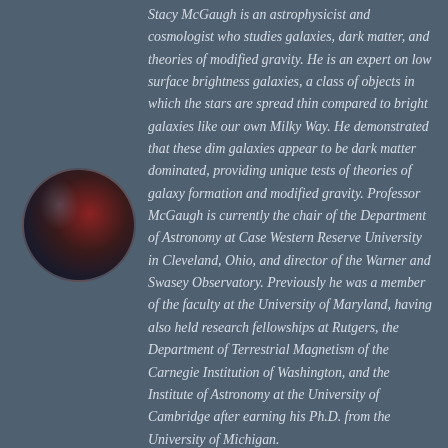[Figure (photo): Circular portrait photo of Stacy McGaugh, silhouetted figure against a blue-sky background, face partially lit in reddish tones]
Stacy McGaugh is an astrophysicist and cosmologist who studies galaxies, dark matter, and theories of modified gravity. He is an expert on low surface brightness galaxies, a class of objects in which the stars are spread thin compared to bright galaxies like our own Milky Way. He demonstrated that these dim galaxies appear to be dark matter dominated, providing unique tests of theories of galaxy formation and modified gravity. Professor McGaugh is currently the chair of the Department of Astronomy at Case Western Reserve University in Cleveland, Ohio, and director of the Warner and Swasey Observatory. Previously he was a member of the faculty at the University of Maryland, having also held research fellowships at Rutgers, the Department of Terrestrial Magnetism of the Carnegie Institution of Washington, and the Institute of Astronomy at the University of Cambridge after earning his Ph.D. from the University of Michigan.